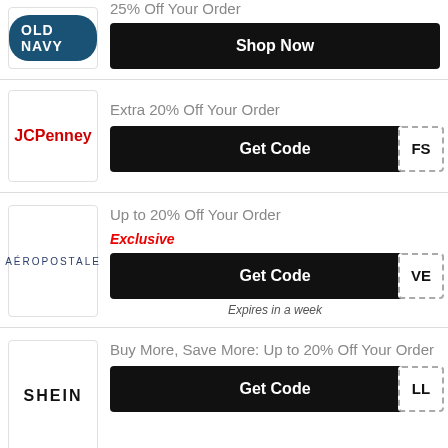[Figure (logo): Old Navy logo with Shop Now button (partial top row)]
25% Off Your Order
Shop Now
[Figure (logo): JCPenney logo]
Extra 20% Off Your Order
Get Code FS
[Figure (logo): Aeropostale logo]
Up to 20% Off Your Order
Exclusive
Get Code VE
Expires in a week
[Figure (logo): SHEIN logo]
Buy More, Save More: Up to 20% Off Your Order
Get Code LL